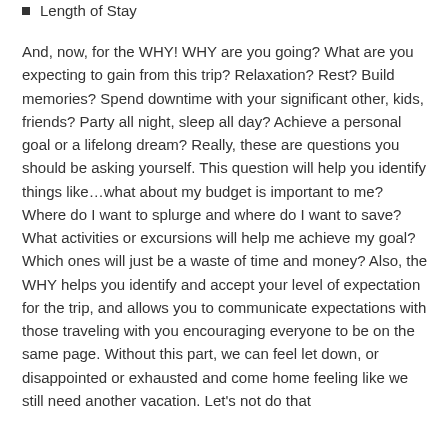Length of Stay
And, now, for the WHY! WHY are you going? What are you expecting to gain from this trip? Relaxation? Rest? Build memories? Spend downtime with your significant other, kids, friends? Party all night, sleep all day? Achieve a personal goal or a lifelong dream? Really, these are questions you should be asking yourself. This question will help you identify things like…what about my budget is important to me? Where do I want to splurge and where do I want to save? What activities or excursions will help me achieve my goal? Which ones will just be a waste of time and money? Also, the WHY helps you identify and accept your level of expectation for the trip, and allows you to communicate expectations with those traveling with you encouraging everyone to be on the same page. Without this part, we can feel let down, or disappointed or exhausted and come home feeling like we still need another vacation. Let's not do that